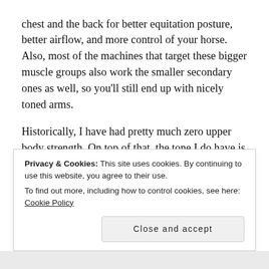chest and the back for better equitation posture, better airflow, and more control of your horse. Also, most of the machines that target these bigger muscle groups also work the smaller secondary ones as well, so you'll still end up with nicely toned arms.
Historically, I have had pretty much zero upper body strength. On top of that, the tone I do have is completely lopsided; since it comes mostly from pitching softball for nearly a decade, I have this disproportionate right bicep that looks really big compared to the left one, but which
Privacy & Cookies: This site uses cookies. By continuing to use this website, you agree to their use.
To find out more, including how to control cookies, see here: Cookie Policy
Close and accept